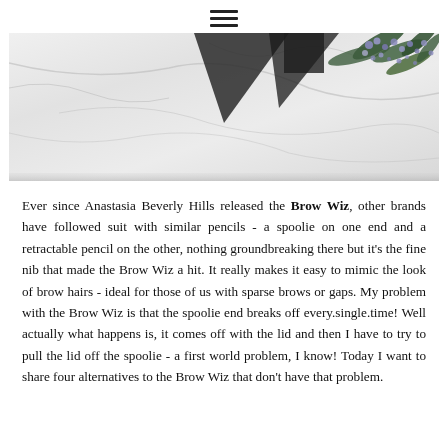≡ (hamburger menu icon)
[Figure (photo): Decorative banner image showing a white marble texture background with dark geometric triangle shapes overlaid, and green leaves with small purple/blue flowers in the upper right corner.]
Ever since Anastasia Beverly Hills released the Brow Wiz, other brands have followed suit with similar pencils - a spoolie on one end and a retractable pencil on the other, nothing groundbreaking there but it's the fine nib that made the Brow Wiz a hit. It really makes it easy to mimic the look of brow hairs - ideal for those of us with sparse brows or gaps. My problem with the Brow Wiz is that the spoolie end breaks off every.single.time! Well actually what happens is, it comes off with the lid and then I have to try to pull the lid off the spoolie - a first world problem, I know! Today I want to share four alternatives to the Brow Wiz that don't have that problem.